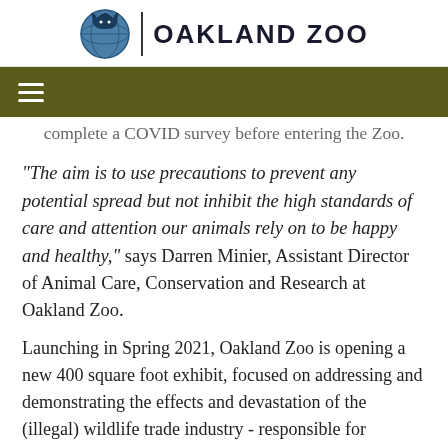[Figure (logo): Oakland Zoo logo with globe and animal silhouette icon, text OAKLAND ZOO]
Navigation bar with hamburger menu icon
...of limited volunteers and vendor/guests also complete a COVID survey before entering the Zoo.
"The aim is to use precautions to prevent any potential spread but not inhibit the high standards of care and attention our animals rely on to be happy and healthy," says Darren Minier, Assistant Director of Animal Care, Conservation and Research at Oakland Zoo.
Launching in Spring 2021, Oakland Zoo is opening a new 400 square foot exhibit, focused on addressing and demonstrating the effects and devastation of the (illegal) wildlife trade industry - responsible for decimating many animal species and also many zoonotic diseases.
"O...